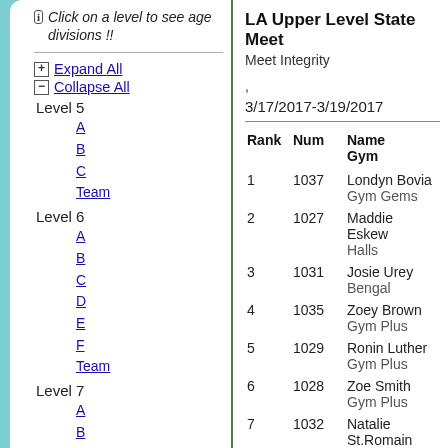Click on a level to see age divisions !!
Expand All
Collapse All
Level 5
A
B
C
Team
Level 6
A
B
C
D
E
F
Team
Level 7
A
B
C
LA Upper Level State Meet
Meet Integrity
3/17/2017-3/19/2017
| Rank | Num | Name
Gym |
| --- | --- | --- |
| 1 | 1037 | Londyn Bovia
Gym Gems |
| 2 | 1027 | Maddie Eskew
Halls |
| 3 | 1031 | Josie Urey
Bengal |
| 4 | 1035 | Zoey Brown
Gym Plus |
| 5 | 1029 | Ronin Luther
Gym Plus |
| 6 | 1028 | Zoe Smith
Gym Plus |
| 7 | 1032 | Natalie St.Romain
Halls |